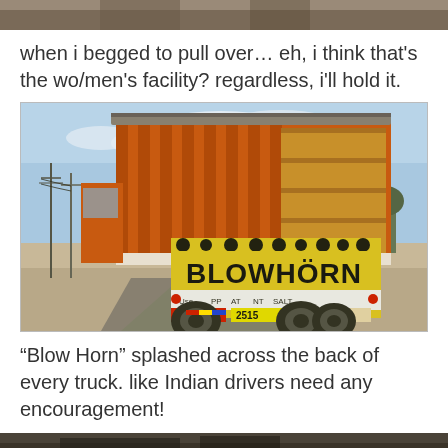[Figure (photo): Top portion of a previous photo, cropped at the top of the page]
when i begged to pull over… eh, i think that's the wo/men's facility? regardless, i'll hold it.
[Figure (photo): Rear view of a colorful Indian truck on a road with 'BLOW HORN' written on its back, with a dusty highway and power lines visible]
“Blow Horn” splashed across the back of every truck. like Indian drivers need any encouragement!
[Figure (photo): Bottom portion of another photo, partially visible at the bottom of the page]